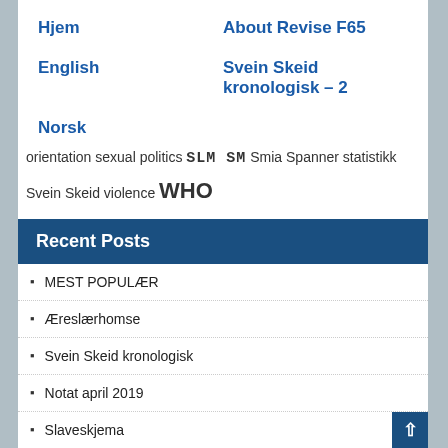Hjem | About Revise F65 | English | Svein Skeid kronologisk – 2 | Norsk
orientation sexual politics SLM SM Smia Spanner statistikk Svein Skeid violence WHO
Recent Posts
MEST POPULÆR
Æreslærhomse
Svein Skeid kronologisk
Notat april 2019
Slaveskjema